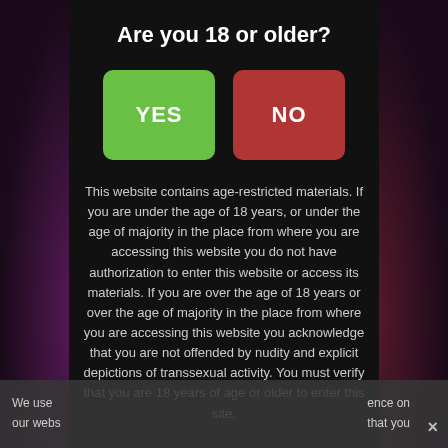Are you 18 or older?
This website contains age-restricted materials. If you are under the age of 18 years, or under the age of majority in the place from where you are accessing this website you do not have authorization to enter this website or access its materials. If you are over the age of 18 years or over the age of majority in the place from where you are accessing this website you acknowledge that you are not offended by nudity and explicit depictions of transsexual activity. You must verify that you are 18 years of age or older to enter this site.
We use  ence on our webs  that you